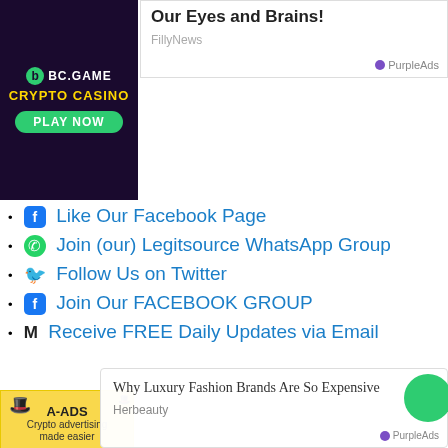[Figure (screenshot): PurpleAds advertisement overlay at top right with title text and FillyNews source label]
[Figure (photo): BC.Game Crypto Casino 'Play Now' advertisement banner on left]
Like Our Facebook Page
Join (our) Legitsource WhatsApp Group
Follow Us on Twitter
Join Our FACEBOOK GROUP
Receive FREE Daily Updates via Email
[Figure (screenshot): A-ADS crypto advertising banner: 'Crypto advertising made easier']
[Figure (screenshot): A-ADS crypto advertising banner (second): 'Crypto advertising made easier']
[Figure (screenshot): PurpleAds advertisement overlay at bottom with 'Why Luxury Fashion Brands Are So Expensive' by Herbeauty]